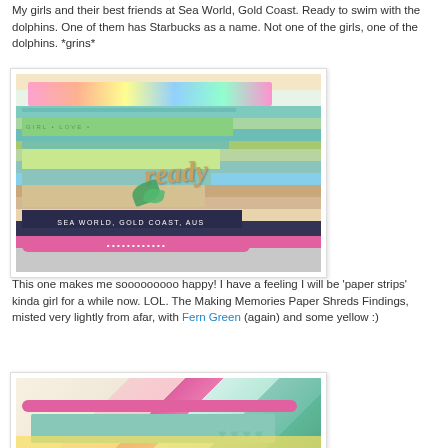My girls and their best friends at Sea World, Gold Coast. Ready to swim with the dolphins. One of them has Starbucks as a name. Not one of the girls, one of the dolphins. *grins*
[Figure (photo): A scrapbook layout page showing colorful paper strips and embellishments with the word 'ready' and text reading 'SEA WORLD, GOLD COAST, AUS']
This one makes me sooooooooo happy! I have a feeling I will be 'paper strips' kinda girl for a while now. LOL. The Making Memories Paper Shreds Findings, misted very lightly from afar, with Fern Green (again) and some yellow :)
[Figure (photo): Close-up of a scrapbook layout showing pink ric-rac trim and green heart-patterned paper strips]